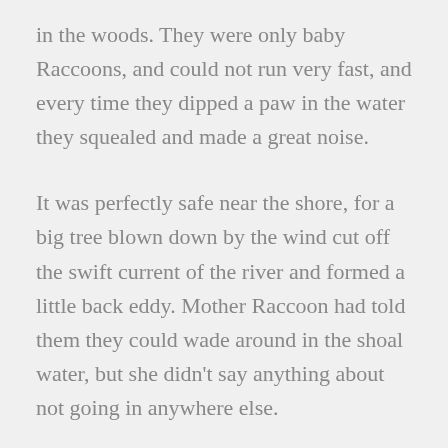in the woods. They were only baby Raccoons, and could not run very fast, and every time they dipped a paw in the water they squealed and made a great noise.
It was perfectly safe near the shore, for a big tree blown down by the wind cut off the swift current of the river and formed a little back eddy. Mother Raccoon had told them they could wade around in the shoal water, but she didn't say anything about not going in anywhere else.